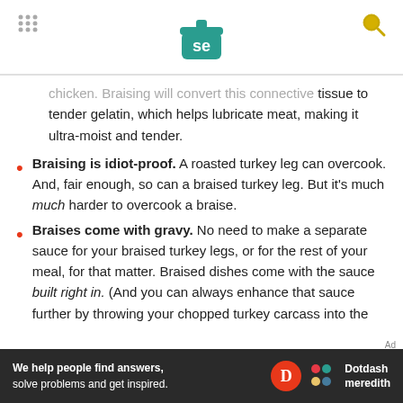Serious Eats header with logo and navigation
chicken. Braising will convert this connective tissue to tender gelatin, which helps lubricate meat, making it ultra-moist and tender.
Braising is idiot-proof. A roasted turkey leg can overcook. And, fair enough, so can a braised turkey leg. But it's much much harder to overcook a braise.
Braises come with gravy. No need to make a separate sauce for your braised turkey legs, or for the rest of your meal, for that matter. Braised dishes come with the sauce built right in. (And you can always enhance that sauce further by throwing your chopped turkey carcass into the
[Figure (logo): Dotdash Meredith advertisement banner: 'We help people find answers, solve problems and get inspired.' with orange D logo and Dotdash meredith colorful logo]